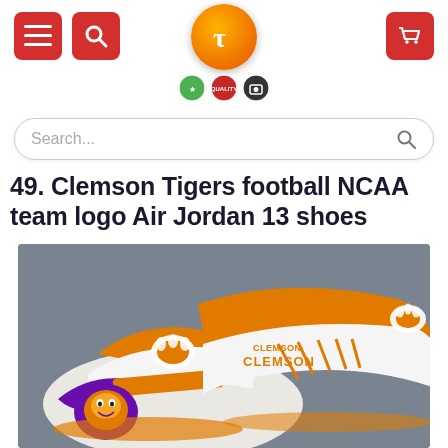Tezostores.com header with menu, search and cart buttons, logo
Search...
49. Clemson Tigers football NCAA team logo Air Jordan 13 shoes
[Figure (photo): Photo of Clemson Tigers themed Air Jordan 13 shoes in orange, white and purple with tiger paw logo and CLEMSON text on side]